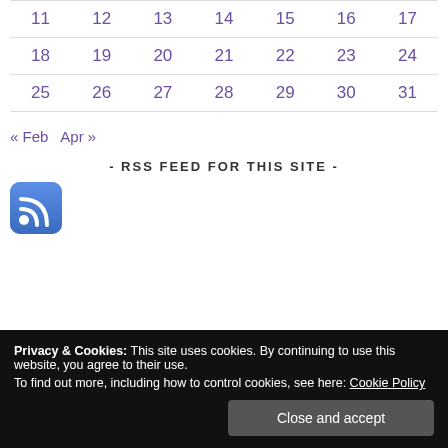|  |  |  |  |  |  |  |
| --- | --- | --- | --- | --- | --- | --- |
| 11 | 12 | 13 | 14 | 15 | 16 | 17 |
| 18 | 19 | 20 | 21 | 22 | 23 | 24 |
| 25 | 26 | 27 | 28 | 29 | 30 | 31 |
« Feb   Apr »
- RSS FEED FOR THIS SITE -
[Figure (other): RSS feed icon — blue rounded square with white RSS symbol]
Privacy & Cookies: This site uses cookies. By continuing to use this website, you agree to their use.
To find out more, including how to control cookies, see here: Cookie Policy